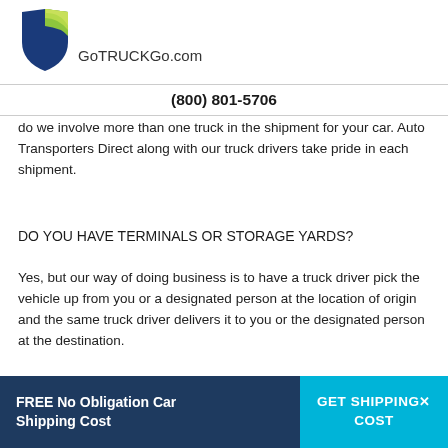[Figure (logo): GoTRUCKGo shield logo — blue and green shield icon]
GoTRUCKGo.com
(800) 801-5706
do we involve more than one truck in the shipment for your car. Auto Transporters Direct along with our truck drivers take pride in each shipment.
DO YOU HAVE TERMINALS OR STORAGE YARDS?
Yes, but our way of doing business is to have a truck driver pick the vehicle up from you or a designated person at the location of origin and the same truck driver delivers it to you or the designated person at the destination.
DO YOU WORK WEEKENDS?
FREE No Obligation Car Shipping Cost   GET SHIPPING✕ COST